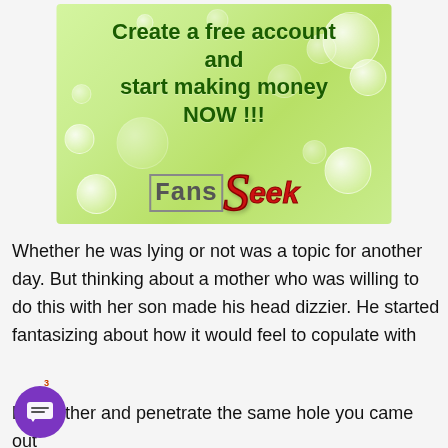[Figure (illustration): FansSeek promotional banner ad with green water-drop background. Text reads 'Create a free account and start making money NOW!!!' with the FansSeek logo below — 'Fans' in grey block letters and 'Seek' in red italic script with a large red S.]
Whether he was lying or not was a topic for another day. But thinking about a mother who was willing to do this with her son made his head dizzier. He started fantasizing about how it would feel to copulate with his mother and penetrate the same hole you came out